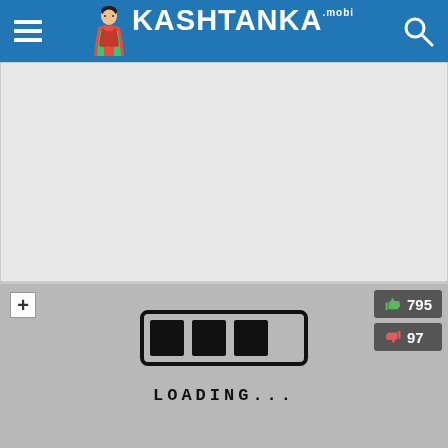KASHTANKA.mobi website header with hamburger menu, logo, and search icon
[Figure (other): Gray advertisement placeholder area]
[Figure (other): Loading screen with progress bar illustration and LOADING... text, plus-button top left, thumbs up 795 and thumbs down 97 vote buttons top right]